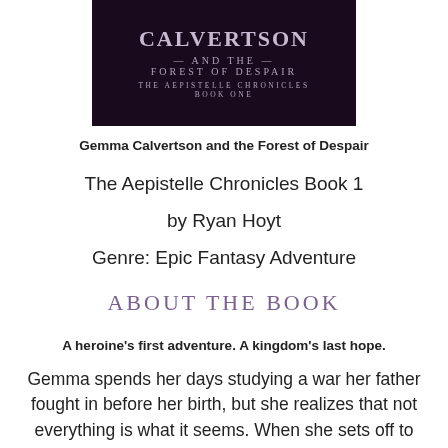[Figure (illustration): Book cover for 'Gemma Calvertson and the Forest of Despair' — The Aepistelle Chronicles Book One. Dark purple/black background with decorative silver/lavender text.]
Gemma Calvertson and the Forest of Despair
The Aepistelle Chronicles Book 1
by Ryan Hoyt
Genre: Epic Fantasy Adventure
ABOUT THE BOOK
A heroine's first adventure. A kingdom's last hope.
Gemma spends her days studying a war her father fought in before her birth, but she realizes that not everything is what it seems. When she sets off to interview an aging hero, she